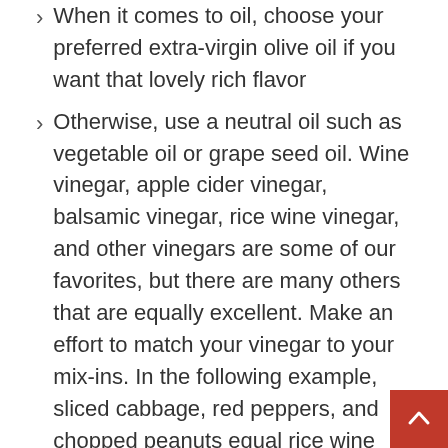When it comes to oil, choose your preferred extra-virgin olive oil if you want that lovely rich flavor
Otherwise, use a neutral oil such as vegetable oil or grape seed oil. Wine vinegar, apple cider vinegar, balsamic vinegar, rice wine vinegar, and other vinegars are some of our favorites, but there are many others that are equally excellent. Make an effort to match your vinegar to your mix-ins. In the following example, sliced cabbage, red peppers, and chopped peanuts equal rice wine vinegar. Balsamic or red wine vinegar goes well with basil, cherry tomatoes,